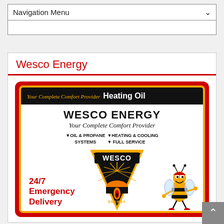Navigation Menu
Wesco Energy
[Figure (illustration): Wesco Energy advertisement. Black header bar with italic gold text 'Your Complete Comfort Provider' and bold white text 'Heating Oil'. Below: bold text 'WESCO ENERGY' and italic 'Your Complete Comfort Provider'. Service bullets: OIL & PROPANE, HEATING & COOLING SYSTEMS, FULL SERVICE. Central Wesco logo: inverted triangle in black/gold with sunburst and flame. Left bottom: red '24/7 Emergency Delivery' text. Right bottom: cartoon bee mascot. Outer red border, inner gold border.]